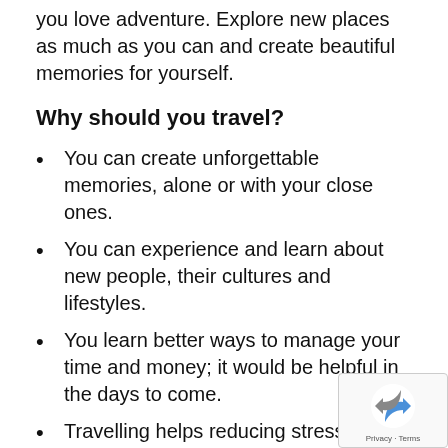you love adventure. Explore new places as much as you can and create beautiful memories for yourself.
Why should you travel?
You can create unforgettable memories, alone or with your close ones.
You can experience and learn about new people, their cultures and lifestyles.
You learn better ways to manage your time and money; it would be helpful in the days to come.
Travelling helps reducing stress and keeps your motivation level high.
You can go to train hi...